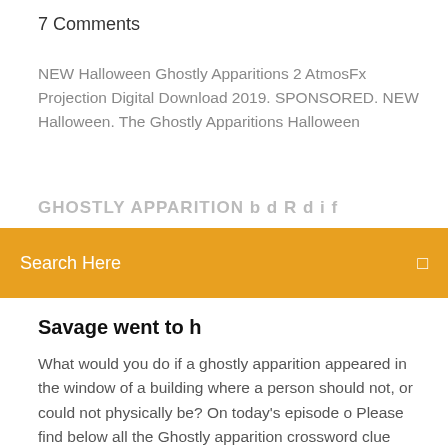7 Comments
NEW Halloween Ghostly Apparitions 2 AtmosFx Projection Digital Download 2019. SPONSORED. NEW Halloween. The Ghostly Apparitions Halloween
GHOSTLY APPARITION b d R d i f
Search Here
Savage went to h
What would you do if a ghostly apparition appeared in the window of a building where a person should not, or could not physically be? On today's episode o Please find below all the Ghostly apparition crossword clue answers and solutions for the Universal Crossword September 28 2020 Answers. In case something is wrong or missing kindly let me know and I will be more than happy to help Continue reading Ghostly apparition crossword clue→ The Ghostly Apparition is a side quest